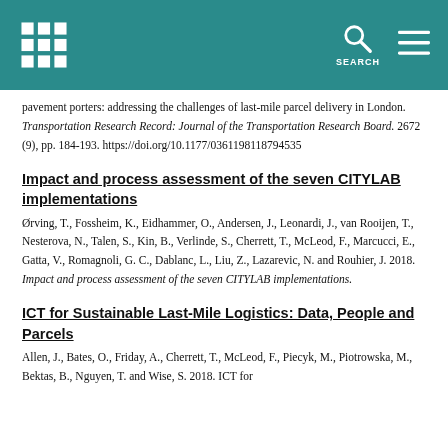SEARCH
pavement porters: addressing the challenges of last-mile parcel delivery in London. Transportation Research Record: Journal of the Transportation Research Board. 2672 (9), pp. 184-193. https://doi.org/10.1177/0361198118794535
Impact and process assessment of the seven CITYLAB implementations
Ørving, T., Fossheim, K., Eidhammer, O., Andersen, J., Leonardi, J., van Rooijen, T., Nesterova, N., Talen, S., Kin, B., Verlinde, S., Cherrett, T., McLeod, F., Marcucci, E., Gatta, V., Romagnoli, G. C., Dablanc, L., Liu, Z., Lazarevic, N. and Rouhier, J. 2018. Impact and process assessment of the seven CITYLAB implementations.
ICT for Sustainable Last-Mile Logistics: Data, People and Parcels
Allen, J., Bates, O., Friday, A., Cherrett, T., McLeod, F., Piecyk, M., Piotrowska, M., Bektas, B., Nguyen, T. and Wise, S. 2018. ICT for